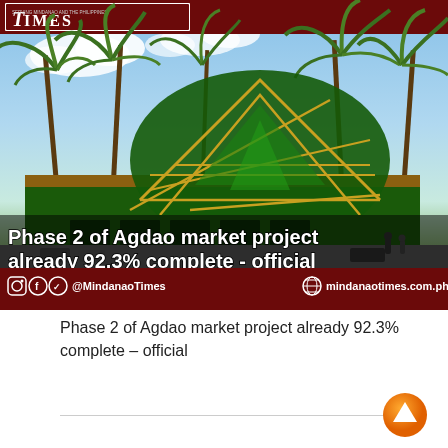[Figure (photo): Mindanao Times newspaper screenshot showing a rendering of Agdao market building with palm trees, lattice dome structure, green and gold colors. Overlaid white bold text reads 'Phase 2 of Agdao market project already 92.3% complete - official'. Dark red header bar with Times logo and social media bar at bottom showing @MindanaoTimes and mindanaotimes.com.ph]
Phase 2 of Agdao market project already 92.3% complete – official